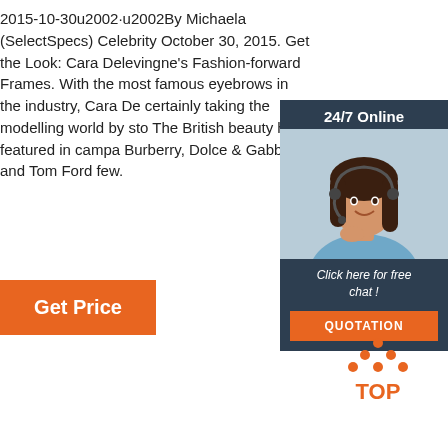2015-10-30u2002·u2002By Michaela (SelectSpecs) Celebrity October 30, 2015. Get the Look: Cara Delevingne's Fashion-forward Frames. With the most famous eyebrows in the industry, Cara De certainly taking the modelling world by sto The British beauty has featured in campa Burberry, Dolce & Gabbana and Tom Ford few.
[Figure (other): Get Price orange button]
[Figure (infographic): 24/7 Online chat widget with a woman wearing a headset, dark blue background, 'Click here for free chat!' text, and orange QUOTATION button]
[Figure (logo): Back to TOP icon — orange dots arranged in a triangle above the orange text TOP]